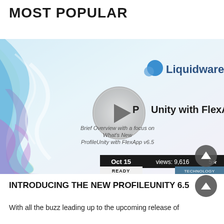MOST POPULAR
[Figure (screenshot): Video thumbnail for Liquidware Labs ProfileUnity with FlexApp. Shows the Liquidware Labs logo, a play button overlay, text reading 'ProfileUnity with FlexApp' and subtitle 'Brief Overview with a focus on What's New ProfileUnity with FlexApp v6.5'. Bottom bar shows Oct 15, views: 9,616, 5 stars, and READY / TECHNOLOGY labels.]
INTRODUCING THE NEW PROFILEUNITY 6.5
With all the buzz leading up to the upcoming release of